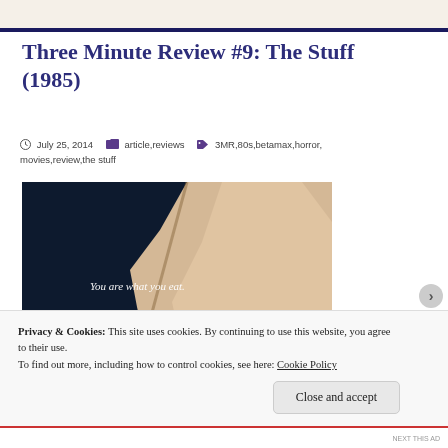Three Minute Review #9: The Stuff (1985)
July 25, 2014   article, reviews   3MR, 80s, betamax, horror, movies, review, the stuff
[Figure (photo): Movie poster/still from 'The Stuff' (1985) showing dark background with torn paper texture and text 'You are what you eat.']
Privacy & Cookies: This site uses cookies. By continuing to use this website, you agree to their use. To find out more, including how to control cookies, see here: Cookie Policy
Close and accept